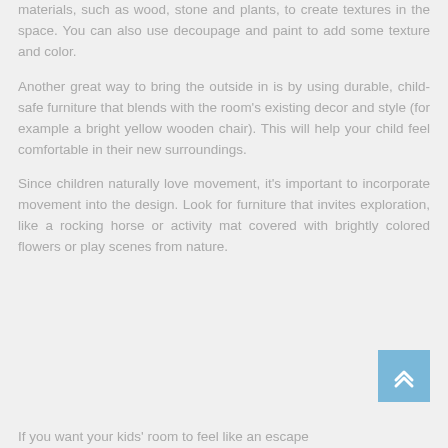materials, such as wood, stone and plants, to create textures in the space. You can also use decoupage and paint to add some texture and color.
Another great way to bring the outside in is by using durable, child-safe furniture that blends with the room's existing decor and style (for example a bright yellow wooden chair). This will help your child feel comfortable in their new surroundings.
Since children naturally love movement, it's important to incorporate movement into the design. Look for furniture that invites exploration, like a rocking horse or activity mat covered with brightly colored flowers or play scenes from nature.
If you want your kids' room to feel like an escape